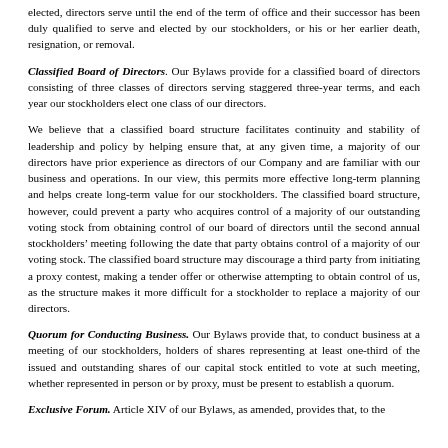elected, directors serve until the end of the term of office and their successor has been duly qualified to serve and elected by our stockholders, or his or her earlier death, resignation, or removal.
Classified Board of Directors. Our Bylaws provide for a classified board of directors consisting of three classes of directors serving staggered three-year terms, and each year our stockholders elect one class of our directors.
We believe that a classified board structure facilitates continuity and stability of leadership and policy by helping ensure that, at any given time, a majority of our directors have prior experience as directors of our Company and are familiar with our business and operations. In our view, this permits more effective long-term planning and helps create long-term value for our stockholders. The classified board structure, however, could prevent a party who acquires control of a majority of our outstanding voting stock from obtaining control of our board of directors until the second annual stockholders’ meeting following the date that party obtains control of a majority of our voting stock. The classified board structure may discourage a third party from initiating a proxy contest, making a tender offer or otherwise attempting to obtain control of us, as the structure makes it more difficult for a stockholder to replace a majority of our directors.
Quorum for Conducting Business. Our Bylaws provide that, to conduct business at a meeting of our stockholders, holders of shares representing at least one-third of the issued and outstanding shares of our capital stock entitled to vote at such meeting, whether represented in person or by proxy, must be present to establish a quorum.
Exclusive Forum. Article XIV of our Bylaws, as amended, provides that, to the fullest extent permitted by law, the sole and exclusive forum for...